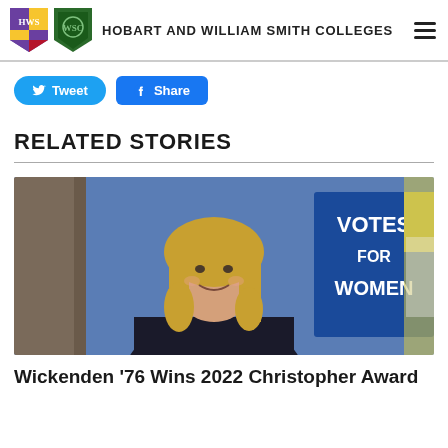HOBART AND WILLIAM SMITH COLLEGES
Tweet | Share
RELATED STORIES
[Figure (photo): A smiling woman with shoulder-length blonde hair wearing a dark top, standing in front of a blue sign that reads 'VOTES FOR WOMEN']
Wickenden '76 Wins 2022 Christopher Award